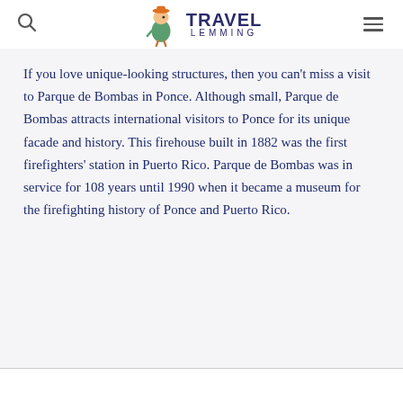Travel Lemming
If you love unique-looking structures, then you can't miss a visit to Parque de Bombas in Ponce. Although small, Parque de Bombas attracts international visitors to Ponce for its unique facade and history. This firehouse built in 1882 was the first firefighters' station in Puerto Rico. Parque de Bombas was in service for 108 years until 1990 when it became a museum for the firefighting history of Ponce and Puerto Rico.